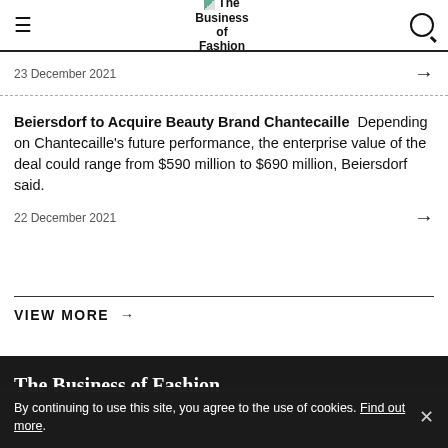The Business of Fashion
23 December 2021
Beiersdorf to Acquire Beauty Brand Chantecaille  Depending on Chantecaille's future performance, the enterprise value of the deal could range from $590 million to $690 million, Beiersdorf said.
22 December 2021
VIEW MORE →
The Business of Fashion
Agenda-setting intelligence, analysis and advice for the
By continuing to use this site, you agree to the use of cookies. Find out more.